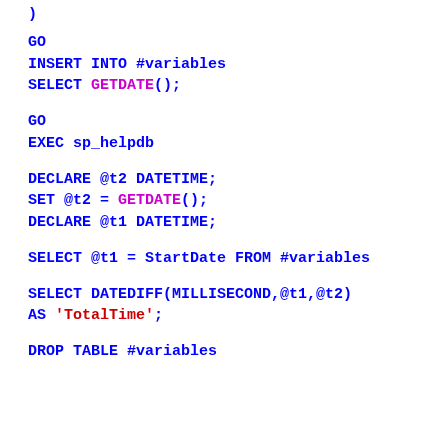)
GO
INSERT INTO #variables
SELECT GETDATE();
GO
EXEC sp_helpdb
DECLARE @t2 DATETIME;
SET @t2 = GETDATE();
DECLARE @t1 DATETIME;
SELECT @t1 = StartDate FROM #variables
SELECT DATEDIFF(MILLISECOND,@t1,@t2) AS 'TotalTime';
DROP TABLE #variables